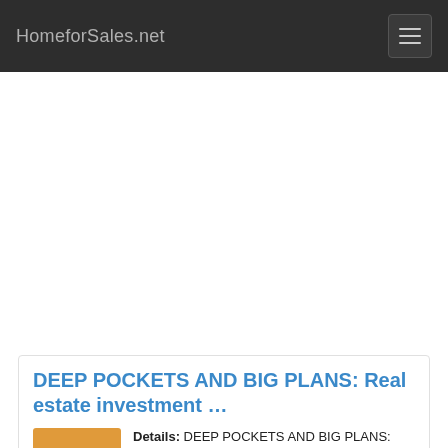HomeforSales.net
[Figure (other): Advertisement / blank white area below navigation bar]
DEEP POCKETS AND BIG PLANS: Real estate investment …
Details: DEEP POCKETS AND BIG PLANS: Real estate investment firm to revitalize Pocatello's former NOP plant By